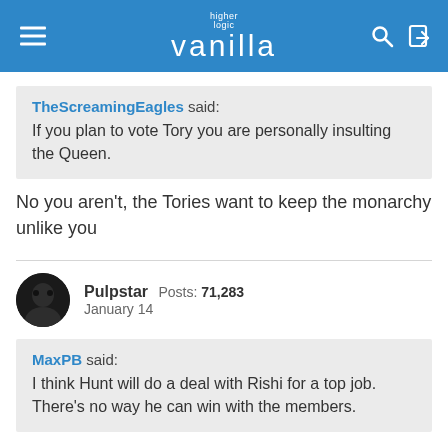higher logic vanilla
TheScreamingEagles said: If you plan to vote Tory you are personally insulting the Queen.
No you aren't, the Tories want to keep the monarchy unlike you
Pulpstar  Posts: 71,283  January 14
MaxPB said: I think Hunt will do a deal with Rishi for a top job. There's no way he can win with the members.
Hunt is a very plausible candidate for chancellor